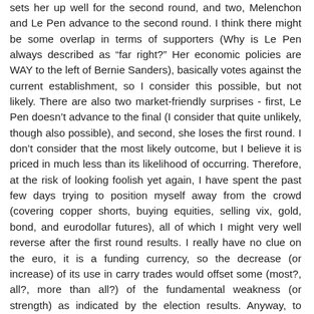sets her up well for the second round, and two, Melenchon and Le Pen advance to the second round. I think there might be some overlap in terms of supporters (Why is Le Pen always described as "far right?" Her economic policies are WAY to the left of Bernie Sanders), basically votes against the current establishment, so I consider this possible, but not likely. There are also two market-friendly surprises - first, Le Pen doesn't advance to the final (I consider that quite unlikely, though also possible), and second, she loses the first round. I don't consider that the most likely outcome, but I believe it is priced in much less than its likelihood of occurring. Therefore, at the risk of looking foolish yet again, I have spent the past few days trying to position myself away from the crowd (covering copper shorts, buying equities, selling vix, gold, bond, and eurodollar futures), all of which I might very well reverse after the first round results. I really have no clue on the euro, it is a funding currency, so the decrease (or increase) of its use in carry trades would offset some (most?, all?, more than all?) of the fundamental weakness (or strength) as indicated by the election results. Anyway, to summarize, if Le Pen looks week, there could be a sharp (if brief) risk